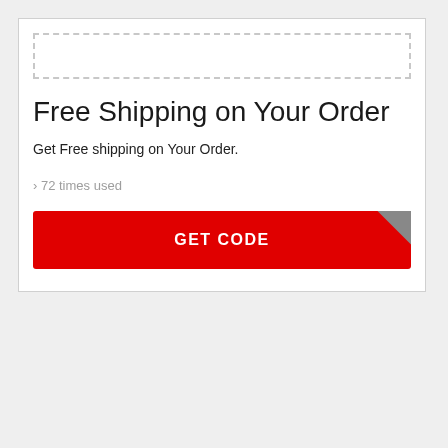[Figure (other): Dashed rectangle placeholder box at top of card]
Free Shipping on Your Order
Get Free shipping on Your Order.
› 72 times used
[Figure (other): Red GET CODE button with grey corner fold]